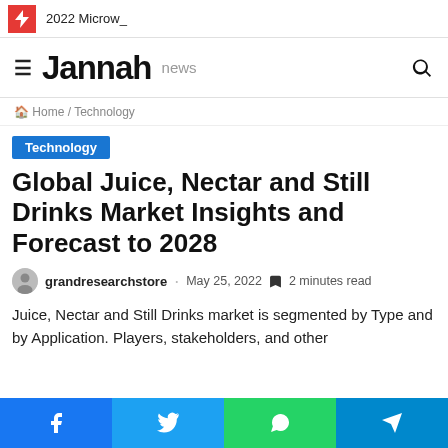2022 Microw_
Jannah news
Home / Technology
Technology
Global Juice, Nectar and Still Drinks Market Insights and Forecast to 2028
grandresearchstore · May 25, 2022 2 minutes read
Juice, Nectar and Still Drinks market is segmented by Type and by Application. Players, stakeholders, and other